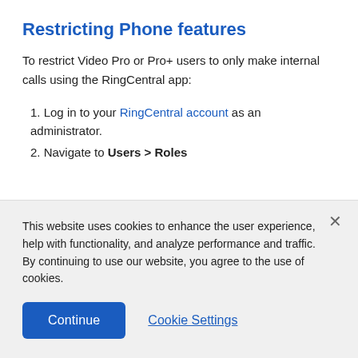Restricting Phone features
To restrict Video Pro or Pro+ users to only make internal calls using the RingCentral app:
1. Log in to your RingCentral account as an administrator.
2. Navigate to Users > Roles
This website uses cookies to enhance the user experience, help with functionality, and analyze performance and traffic. By continuing to use our website, you agree to the use of cookies.
Continue
Cookie Settings